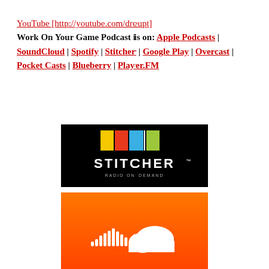YouTube [http://youtube.com/dreupt]
Work On Your Game Podcast is on: Apple Podcasts | SoundCloud | Spotify | Stitcher | Google Play | Overcast | Pocket Casts | Blueberry | Player.FM
[Figure (logo): Stitcher Radio on Demand logo – black background with colored vertical bars (yellow, red, blue, green) and white STITCHER text]
[Figure (logo): SoundCloud logo – orange gradient background with white SoundCloud wave/cloud icon]